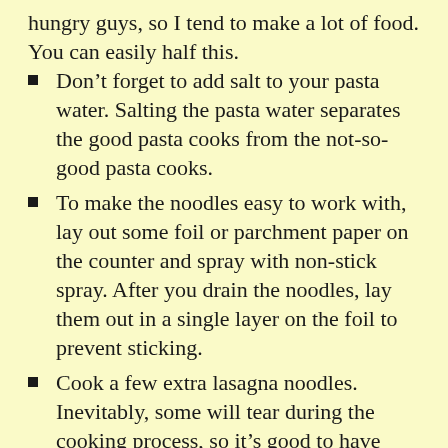hungry guys, so I tend to make a lot of food. You can easily half this.
Don’t forget to add salt to your pasta water. Salting the pasta water separates the good pasta cooks from the not-so-good pasta cooks.
To make the noodles easy to work with, lay out some foil or parchment paper on the counter and spray with non-stick spray. After you drain the noodles, lay them out in a single layer on the foil to prevent sticking.
Cook a few extra lasagna noodles. Inevitably, some will tear during the cooking process, so it’s good to have backups.
Grab a rotisserie chicken to cut the prep time if you want. I cooked a big batch of chicken in my Instant Pot and used the rest to make chicken salad.
Variation ideas: Add roasted red peppers or sundried tomatoes to the chicken mixture. Top with jarred alfredo sauce instead of the tomato sauce.